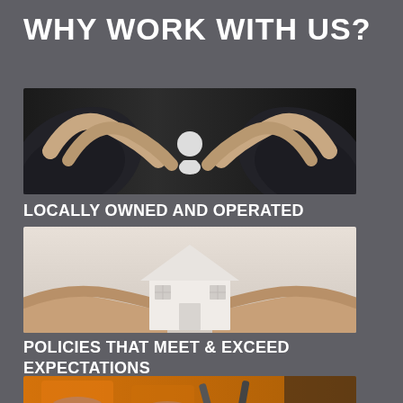WHY WORK WITH US?
[Figure (photo): Hands forming a protective dome shape over a white human icon silhouette on a dark background, suggesting protection and insurance coverage.]
LOCALLY OWNED AND OPERATED
[Figure (photo): Two hands cupping a small white paper model of a house, symbolizing home insurance and protection.]
POLICIES THAT MEET & EXCEED EXPECTATIONS
[Figure (photo): Workers in orange uniforms working with tools, suggesting professional service.]